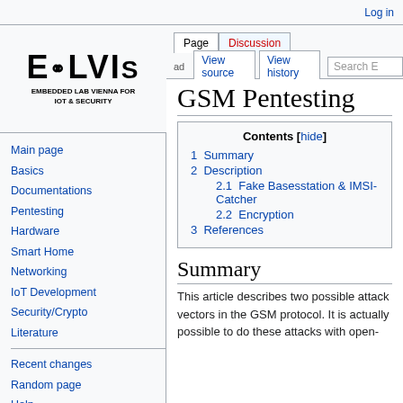Log in
[Figure (logo): ELVIS - Embedded Lab Vienna for IoT & Security logo]
Main page
Basics
Documentations
Pentesting
Hardware
Smart Home
Networking
IoT Development
Security/Crypto
Literature
Recent changes
Random page
Help
GSM Pentesting
| 1 Summary |
| 2 Description |
| 2.1 Fake Basesstation & IMSI-Catcher |
| 2.2 Encryption |
| 3 References |
Summary
This article describes two possible attack vectors in the GSM protocol. It is actually possible to do these attacks with open-